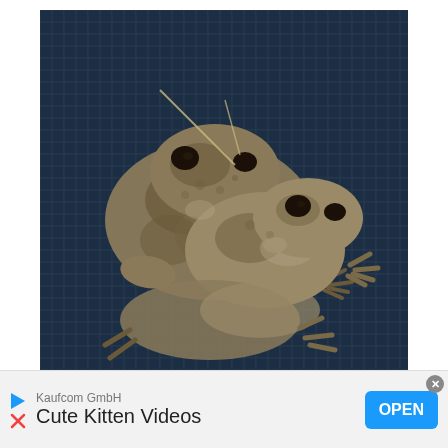[Figure (photo): Two Gray Tree Frogs (Hyla versicolor) sitting on a dark wire mesh/screen surface. The frogs have mottled gray-brown camouflage coloring with bumpy skin texture.]
Gray Treefrog (Hyla versicolor) Credits Fredlyfish4
Time to Hear: mid-June to mid-July, calls for 3-
Ad banner: Kaufcom GmbH — Cute Kitten Videos — OPEN